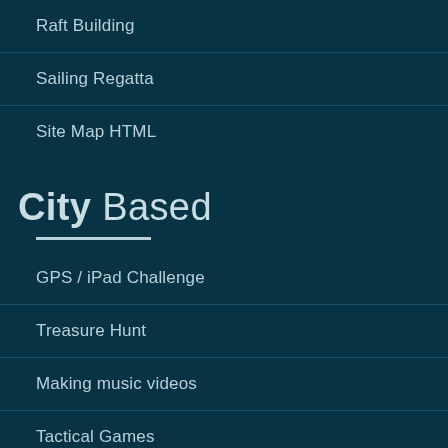Raft Building
Sailing Regatta
Site Map HTML
City Based
GPS / iPad Challenge
Treasure Hunt
Making music videos
Tactical Games
Photographic Hunt